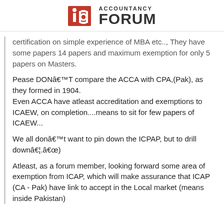[Figure (logo): Accountancy Forum logo with red stylized 'ia' icon and text 'ACCOUNTANCY FORUM']
certification on simple experience of MBA etc.., They have some papers 14 papers and maximum exemption for only 5 papers on Masters.
Pease DONâT compare the ACCA with CPA,(Pak), as they formed in 1904.
Even ACCA have atleast accreditation and exemptions to ICAEW, on completion....means to sit for few papers of ICAEW...
We all donât want to pin down the ICPAP, but to drill downâ¦.â)
Atleast, as a forum member, looking forward some area of exemption from ICAP, which will make assurance that ICAP (CA - Pak) have link to accept in the Local market (means inside Pakistan)